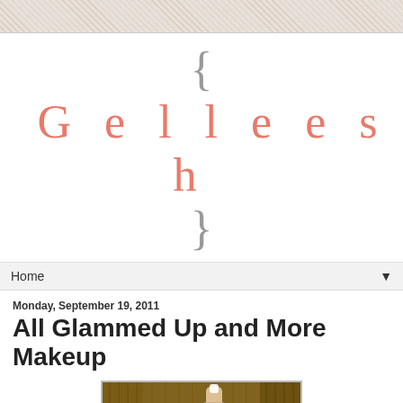[Figure (other): Decorative floral/textured top banner strip]
{ Gelleesh }
Home ▼
Monday, September 19, 2011
All Glammed Up and More Makeup
[Figure (photo): Photo of a cardboard box filled with various makeup and beauty products including mascara, foundation, lotions, and other cosmetics. Watermark visible reading gelleesh.com]